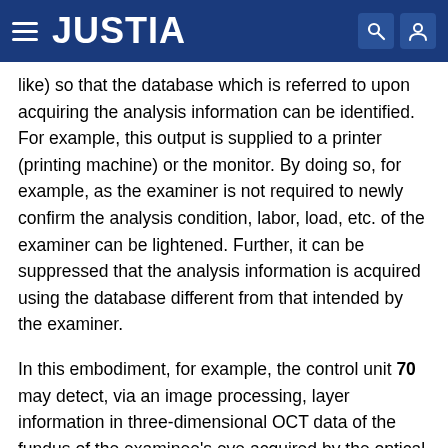JUSTIA
like) so that the database which is referred to upon acquiring the analysis information can be identified. For example, this output is supplied to a printer (printing machine) or the monitor. By doing so, for example, as the examiner is not required to newly confirm the analysis condition, labor, load, etc. of the examiner can be lightened. Further, it can be suppressed that the analysis information is acquired using the database different from that intended by the examiner.
In this embodiment, for example, the control unit 70 may detect, via an image processing, layer information in three-dimensional OCT data of the fundus of the examinee's eye acquired by the optical coherence tomography device, and acquire an analysis map representing a two-dimensional distribution relating to the layer thickness information of the fundus of the